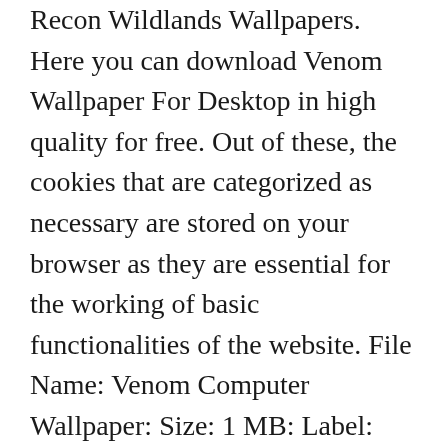Recon Wildlands Wallpapers. Here you can download Venom Wallpaper For Desktop in high quality for free. Out of these, the cookies that are categorized as necessary are stored on your browser as they are essential for the working of basic functionalities of the website. File Name: Venom Computer Wallpaper: Size: 1 MB: Label: Computer Wallpapers: License: Free: Full HD Download. You Can Set it as Lockscreen or Wallpaper of Windows 10 PC... We'll assume you're ok with this, but you can opt-out if you wish. Download 1280x800 Carnage v Venom 1280x800 Resolution Wallpaper, Superheroes Wallpapers, Images, Photos and Background for Desktop Windows 10 MacOS, Apple Iphone and Android Mobile in